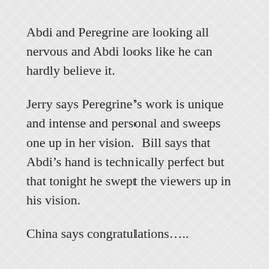Abdi and Peregrine are looking all nervous and Abdi looks like he can hardly believe it.
Jerry says Peregrine’s work is unique and intense and personal and sweeps one up in her vision.  Bill says that Abdi’s hand is technically perfect but that tonight he swept the viewers up in his vision.
China says congratulations…..
…..
….